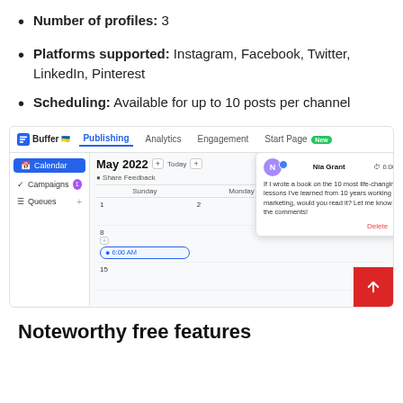Number of profiles: 3
Platforms supported: Instagram, Facebook, Twitter, LinkedIn, Pinterest
Scheduling: Available for up to 10 posts per channel
[Figure (screenshot): Buffer publishing dashboard screenshot showing a May 2022 calendar view with sidebar navigation (Calendar, Campaigns, Queues), navigation tabs (Publishing, Analytics, Engagement, Start Page), and a popup showing a scheduled post at 6:00 AM by Nia Grant with text about a book on life-changing lessons. A red back-to-top button is in the bottom-right corner.]
Noteworthy free features